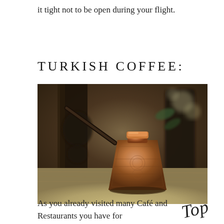it tight not to be open during your flight.
TURKISH COFFEE:
[Figure (photo): A copper Turkish coffee pot (cezve) with an engraved decorative pattern, sitting on a wooden surface. The pot has a distinctive conical body with a long handle extending to the upper left. Dark blurred objects and natural bokeh in the background.]
As you already visited many Café and Restaurants you have for